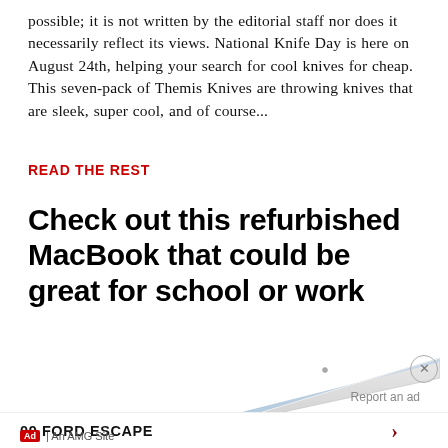possible; it is not written by the editorial staff nor does it necessarily reflect its views. National Knife Day is here on August 24th, helping your search for cool knives for cheap. This seven-pack of Themis Knives are throwing knives that are sleek, super cool, and of course...
READ THE REST
Check out this refurbished MacBook that could be great for school or work
[Figure (photo): Partial view of a laptop (MacBook) showing the top edge and screen from a low angle, white/silver color]
Report an ad
09 FORD ESCAPE
Ad | An AMG Site